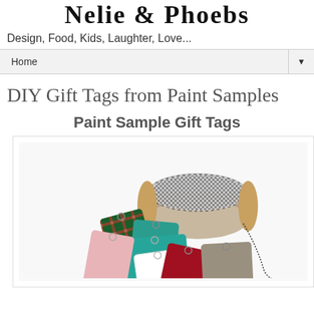Nelie & Phoebs
Design, Food, Kids, Laughter, Love...
Home ▼
DIY Gift Tags from Paint Samples
Paint Sample Gift Tags
[Figure (photo): Photo of colorful paint sample gift tags in red, pink, green, teal, white, dark red, and tan colors, along with a spool of black and white baker's twine on a white background.]